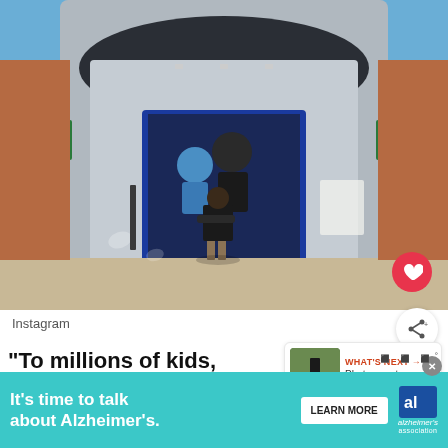[Figure (photo): Person standing in front of a large mural on a building exterior. The mural depicts two figures - a child in a superhero costume and an adult in a dark jacket. The building has a futuristic rounded design with blue and grey panels. Bright blue sky in the background.]
Instagram
“To millions of kids, T’Challa w— legend larger than life, and there was
WHAT’S NEXT → Photog captures...
It’s time to talk about Alzheimer’s.
LEARN MORE